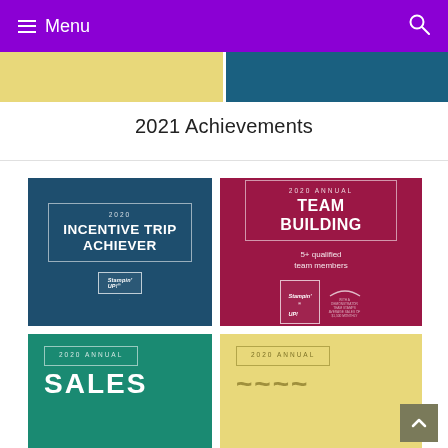Menu
[Figure (illustration): Two banner cards - left gold/yellow, right teal/dark blue]
2021 Achievements
[Figure (illustration): 2020 Incentive Trip Achiever badge - dark blue with Stampin Up logo]
[Figure (illustration): 2020 Annual Team Building badge - crimson/maroon with 5+ qualified team members text and Stampin Up logo]
[Figure (illustration): 2020 Annual Sales badge - teal, partially visible]
[Figure (illustration): 2020 Annual badge - yellow/gold, partially visible]